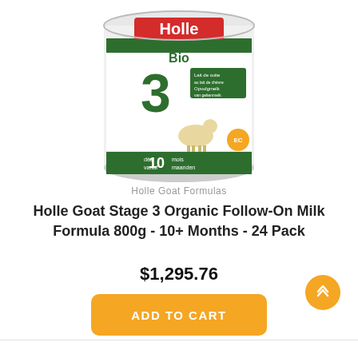[Figure (photo): Holle Bio Goat Stage 3 formula tin, white and green label with a goat, showing '10 months' at the bottom]
Holle Goat Formulas
Holle Goat Stage 3 Organic Follow-On Milk Formula 800g - 10+ Months - 24 Pack
$1,295.76
ADD TO CART